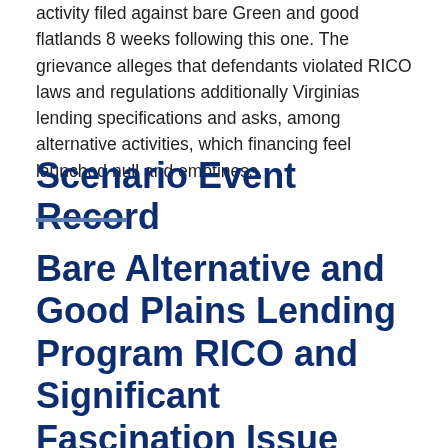activity filed against bare Green and good flatlands 8 weeks following this one. The grievance alleges that defendants violated RICO laws and regulations additionally Virginias lending specifications and asks, among alternative activities, which financing feel launched null and emptiness.
Scenario Event Record
Bare Alternative and Good Plains Lending Program RICO and Significant Fascination Issue